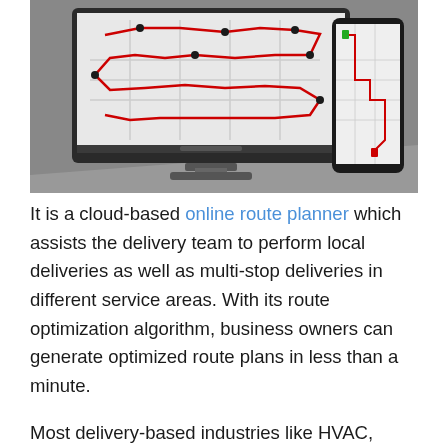[Figure (screenshot): Screenshot showing a desktop computer monitor and a mobile phone both displaying a route planning map application. The monitor shows a map with a red route drawn through various stops marked with pins. The mobile phone also shows a red route on a map. The background is dark gray.]
It is a cloud-based online route planner which assists the delivery team to perform local deliveries as well as multi-stop deliveries in different service areas. With its route optimization algorithm, business owners can generate optimized route plans in less than a minute.

Most delivery-based industries like HVAC, landscaping, small repair services, field service companies and courier services find it easier to plan routes and manage multiple vehicles.